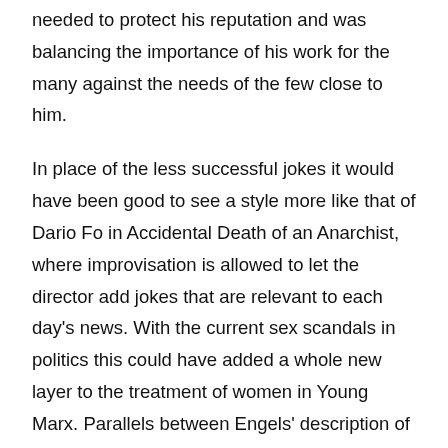needed to protect his reputation and was balancing the importance of his work for the many against the needs of the few close to him.
In place of the less successful jokes it would have been good to see a style more like that of Dario Fo in Accidental Death of an Anarchist, where improvisation is allowed to let the director add jokes that are relevant to each day's news. With the current sex scandals in politics this could have added a whole new layer to the treatment of women in Young Marx. Parallels between Engels' description of Manchester, the treatment of the Irish there, and the similarity with the dialogue of Brexit could have been made. So I